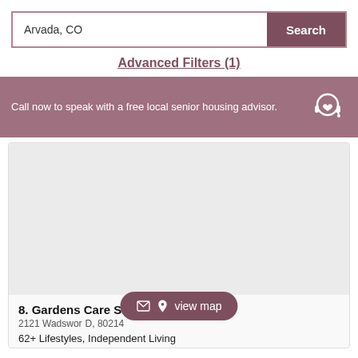Arvada, CO
Search
Advanced Filters (1)
Call now to speak with a free local senior housing advisor.
[Figure (illustration): Headset with heart icon representing senior housing advisor]
[Figure (photo): Listing image area for Gardens Care Senior Living]
8. Gardens Care Senior Living – H...
2121 Wadsworth Blvd, D, 80214
view map
62+ Lifestyles, Independent Living